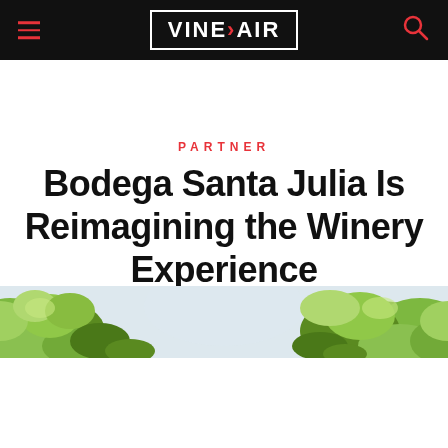VINEPAIR
PARTNER
Bodega Santa Julia Is Reimagining the Winery Experience
[Figure (photo): A strip of green leafy tree tops against a light sky, cropped to a horizontal band.]